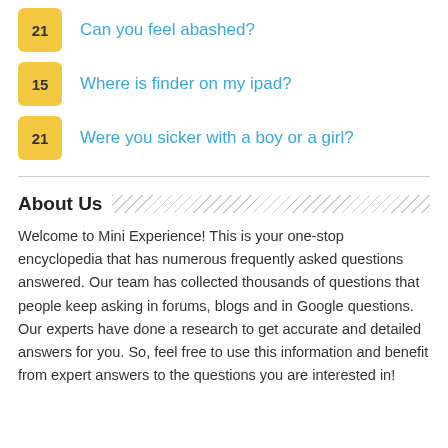21 Can you feel abashed?
15 Where is finder on my ipad?
21 Were you sicker with a boy or a girl?
About Us
Welcome to Mini Experience! This is your one-stop encyclopedia that has numerous frequently asked questions answered. Our team has collected thousands of questions that people keep asking in forums, blogs and in Google questions. Our experts have done a research to get accurate and detailed answers for you. So, feel free to use this information and benefit from expert answers to the questions you are interested in!